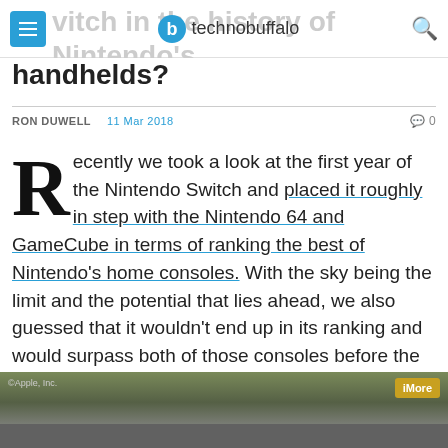technobuffalo
handhelds?
RON DUWELL   11 Mar 2018   💬 0
Recently we took a look at the first year of the Nintendo Switch and placed it roughly in step with the Nintendo 64 and GameCube in terms of ranking the best of Nintendo's home consoles. With the sky being the limit and the potential that lies ahead, we also guessed that it wouldn't end up in its ranking and would surpass both of those consoles before the end of its lifetime.
[Figure (photo): Blurred outdoor photo with Apple Inc. watermark and iMore button overlay, dark bar at bottom]